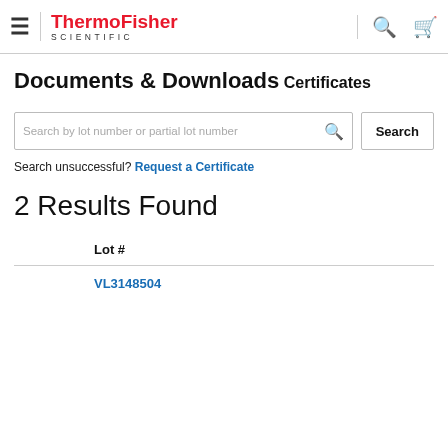ThermoFisher SCIENTIFIC — Documents & Downloads
Documents & Downloads
Certificates
Search by lot number or partial lot number
Search unsuccessful? Request a Certificate
2 Results Found
| Lot # |
| --- |
| VL3148504 |